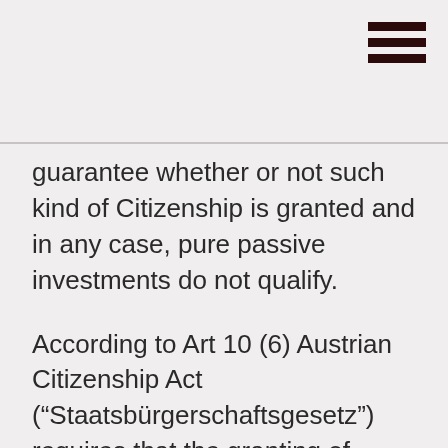[Figure (other): Hamburger menu icon with three dark red horizontal bars in top-right corner]
guarantee whether or not such kind of Citizenship is granted and in any case, pure passive investments do not qualify.

According to Art 10 (6) Austrian Citizenship Act (“Staatsbürgerschaftsgesetz”) requires that the granting of citizenship is in the special interest of the Republic because of the extraordinary services already rendered by the foreigners and to be expected from the foreigner in the future, which can also have activities of the foreigner with an economical character.